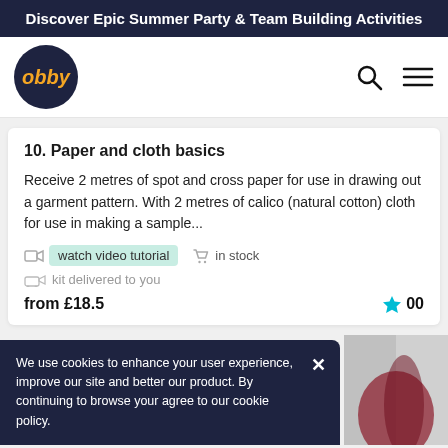Discover Epic Summer Party & Team Building Activities
[Figure (logo): Obby logo - dark navy circle with orange italic text 'obby']
10. Paper and cloth basics
Receive 2 metres of spot and cross paper for use in drawing out a garment pattern. With 2 metres of calico (natural cotton) cloth for use in making a sample...
watch video tutorial   in stock
kit delivered to you
from £18.5   00
We use cookies to enhance your user experience, improve our site and better our product. By continuing to browse your agree to our cookie policy.